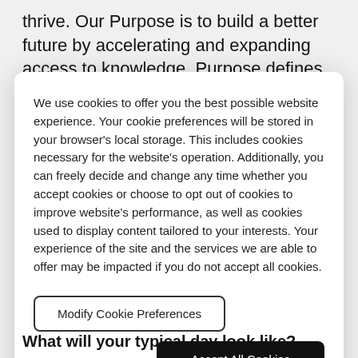thrive. Our Purpose is to build a better future by accelerating and expanding access to knowledge. Purpose defines who we are and gives us reason to
We use cookies to offer you the best possible website experience. Your cookie preferences will be stored in your browser's local storage. This includes cookies necessary for the website's operation. Additionally, you can freely decide and change any time whether you accept cookies or choose to opt out of cookies to improve website's performance, as well as cookies used to display content tailored to your interests. Your experience of the site and the services we are able to offer may be impacted if you do not accept all cookies.
Modify Cookie Preferences
Accept All Cookies
What will your typical day look like?